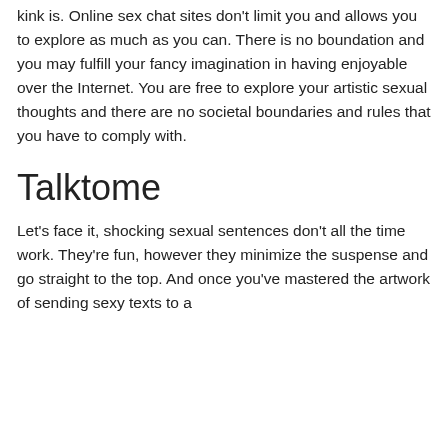kink is. Online sex chat sites don't limit you and allows you to explore as much as you can. There is no boundation and you may fulfill your fancy imagination in having enjoyable over the Internet. You are free to explore your artistic sexual thoughts and there are no societal boundaries and rules that you have to comply with.
Talktome
Let's face it, shocking sexual sentences don't all the time work. They're fun, however they minimize the suspense and go straight to the top. And once you've mastered the artwork of sending sexy texts to a